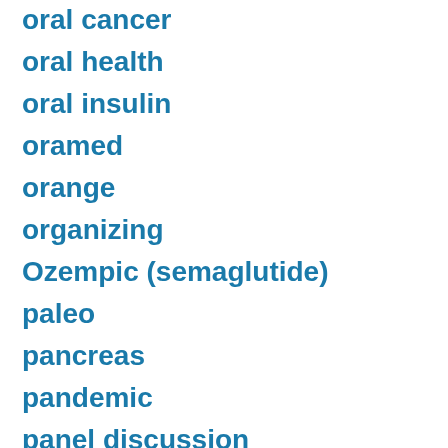oral cancer
oral health
oral insulin
oramed
orange
organizing
Ozempic (semaglutide)
paleo
pancreas
pandemic
panel discussion